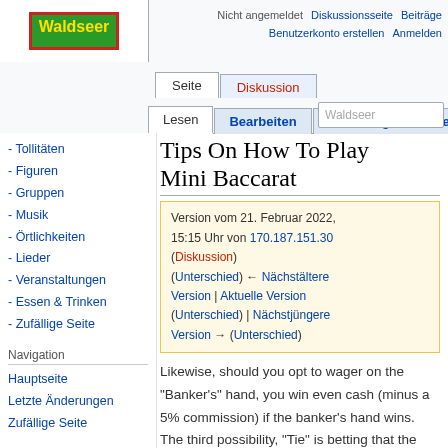Nicht angemeldet  Diskussionsseite  Beiträge  Benutzerkonto erstellen  Anmelden
Seite  Diskussion  Lesen  Bearbeiten  Versionsgeschichte  Waldseer
Tips On How To Play Mini Baccarat
Version vom 21. Februar 2022, 15:15 Uhr von 170.187.151.30 (Diskussion) (Unterschied) ← Nächstältere Version | Aktuelle Version (Unterschied) | Nächstjüngere Version → (Unterschied)
- Tollitäten
- Figuren
- Gruppen
- Musik
- Örtlichkeiten
- Lieder
- Veranstaltungen
- Essen & Trinken
- Zufällige Seite
Navigation
Hauptseite
Letzte Änderungen
Zufällige Seite
Likewise, should you opt to wager on the "Banker's" hand, you win even cash (minus a 5% commission) if the banker's hand wins. The third possibility, "Tie" is betting that the value for each the banker's and the player's hand shall be